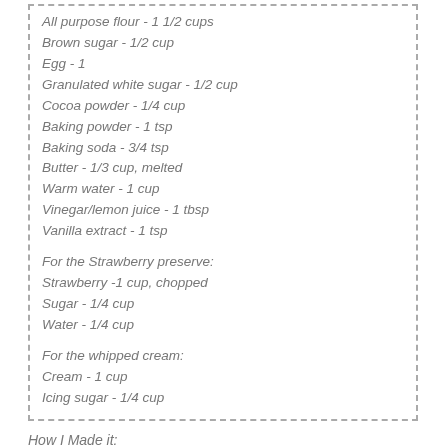All purpose flour - 1 1/2 cups
Brown sugar - 1/2 cup
Egg - 1
Granulated white sugar - 1/2 cup
Cocoa powder - 1/4 cup
Baking powder - 1 tsp
Baking soda - 3/4 tsp
Butter - 1/3 cup, melted
Warm water - 1 cup
Vinegar/lemon juice - 1 tbsp
Vanilla extract - 1 tsp
For the Strawberry preserve:
Strawberry -1 cup, chopped
Sugar - 1/4 cup
Water - 1/4 cup
For the whipped cream:
Cream - 1 cup
Icing sugar - 1/4 cup
How I Made it: